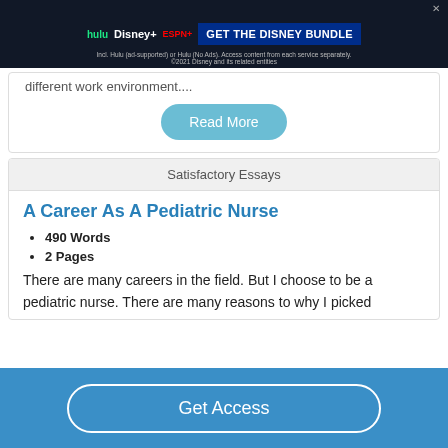[Figure (screenshot): Disney Bundle advertisement banner showing Hulu, Disney+, ESPN+ logos with 'GET THE DISNEY BUNDLE' call to action]
different work environment....
Read More
Satisfactory Essays
A Career As A Pediatric Nurse
490 Words
2 Pages
There are many careers in the field. But I choose to be a pediatric nurse. There are many reasons to why I picked
Get Access